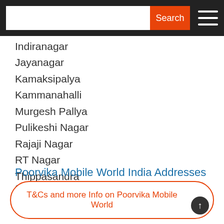Search
Indiranagar
Jayanagar
Kamaksipalya
Kammanahalli
Murgesh Pallya
Pulikeshi Nagar
Rajaji Nagar
RT Nagar
Thippasandra
Poorvika Mobile World India Addresses and Location
Bengaluru
T&Cs and more Info on Poorvika Mobile World